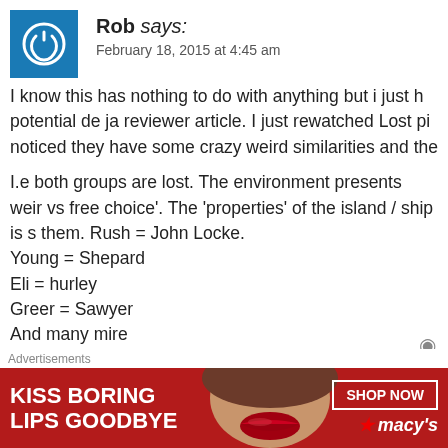Rob says: February 18, 2015 at 4:45 am
I know this has nothing to do with anything but i just h potential de ja reviewer article. I just rewatched Lost pi noticed they have some crazy weird similarities and the
I.e both groups are lost. The environment presents weir vs free choice'. The 'properties' of the island / ship is s them. Rush = John Locke.
Young = Shepard
Eli = hurley
Greer = Sawyer
And many mire
Flashbacks and flash sideways throughout the shows.
Theres even a stolen/lost baby dilema
Advertisements
[Figure (illustration): Macy's lipstick advertisement banner: KISS BORING LIPS GOODBYE with woman's face and red lips, SHOP NOW button and Macy's star logo]